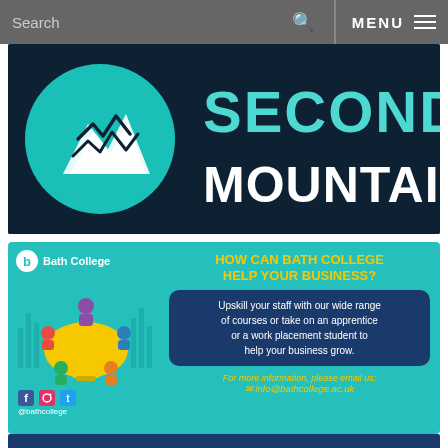Search  MENU
[Figure (logo): Second Mountain logo: dark navy background with mountain/zigzag icon in a teal circle on the left, and 'SECOND MOUNTAIN' text in large teal and white letters on the right]
[Figure (infographic): Bath College advertisement on teal background. Left side: Bath College logo (circular b icon + 'Bath College' text), illustration of people sitting around a lightbulb table, social media icons (Facebook, Instagram, Twitter) with @bathcollege. Right side: yellow heading 'HOW CAN BATH COLLEGE HELP YOUR BUSINESS?', dark blue rounded box with white text 'Upskill your staff with our wide range of courses or take on an apprentice or a work placement student to help your business grow.', and yellow italic text 'For more information, please email us: info@bathcollege.ac.uk']